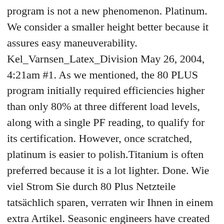program is not a new phenomenon. Platinum. We consider a smaller height better because it assures easy maneuverability. Kel_Varnsen_Latex_Division May 26, 2004, 4:21am #1. As we mentioned, the 80 PLUS program initially required efficiencies higher than only 80% at three different load levels, along with a single PF reading, to qualify for its certification. However, once scratched, platinum is easier to polish.Titanium is often preferred because it is a lot lighter. Done. Wie viel Strom Sie durch 80 Plus Netzteile tatsächlich sparen, verraten wir Ihnen in einem extra Artikel. Seasonic engineers have created a brand new product line based on advanced technology emanating from many years of intensive active research. An integrated water filter produces cleaner water for brewing espresso. The 80 PLUS Silver certification hasn't been very popular, because most manufacturers prefer to flog either the Bronze (budget-minded) or Gold (premium-minded) levels. A hot water outlet is useful as it can be used to heat cups, as well as making americanos, long blacks and teas. Platinum is considered one of